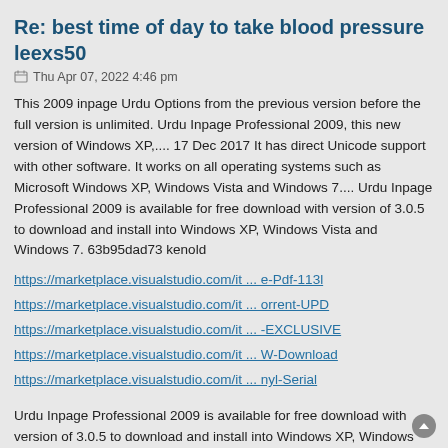Re: best time of day to take blood pressure leexs50
Thu Apr 07, 2022 4:46 pm
This 2009 inpage Urdu Options from the previous version before the full version is unlimited. Urdu Inpage Professional 2009, this new version of Windows XP,.... 17 Dec 2017 It has direct Unicode support with other software. It works on all operating systems such as Microsoft Windows XP, Windows Vista and Windows 7.... Urdu Inpage Professional 2009 is available for free download with version of 3.0.5 to download and install into Windows XP, Windows Vista and Windows 7. 63b95dad73 kenold
https://marketplace.visualstudio.com/it ... e-Pdf-113l
https://marketplace.visualstudio.com/it ... orrent-UPD
https://marketplace.visualstudio.com/it ... -EXCLUSIVE
https://marketplace.visualstudio.com/it ... W-Download
https://marketplace.visualstudio.com/it ... nyl-Serial
Urdu Inpage Professional 2009 is available for free download with version of 3.0.5 to download and install into Windows XP, Windows Vista and Windows 7.. 04 Mar 2014 5 to download and install into Windows XP, Windows Vista and Windows 7. Urdu InPage 2009 is the perfect and complete version that includes...
https://olympia.ampiaw.com/desamare